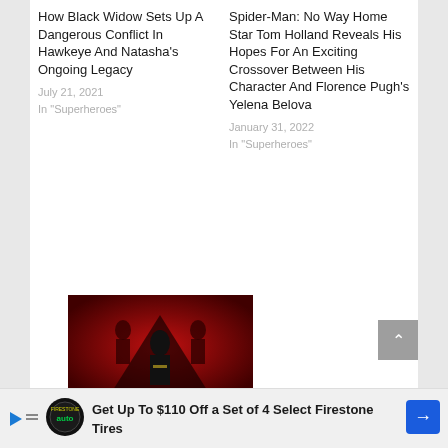How Black Widow Sets Up A Dangerous Conflict In Hawkeye And Natasha's Ongoing Legacy
July 21, 2021
In "Superheroes"
Spider-Man: No Way Home Star Tom Holland Reveals His Hopes For An Exciting Crossover Between His Character And Florence Pugh's Yelena Belova
January 31, 2022
In "Superheroes"
[Figure (photo): Black Widow movie promotional image showing a female figure in black suit standing in front of red background with triangular design and background figures]
Black Widow's Director Reveal That Yelena Belova Is Next Black Widow…
Get Up To $110 Off a Set of 4 Select Firestone Tires